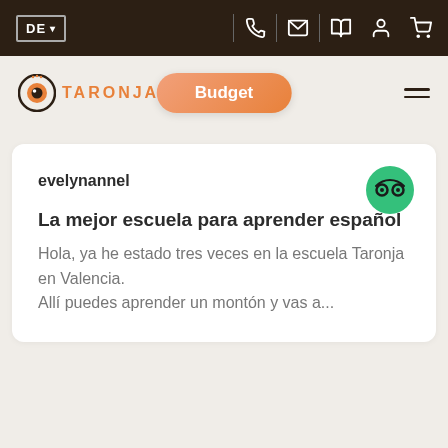DE | [phone] | [mail] | [book] | [user] | [cart]
[Figure (logo): Taronja language school logo with orange circle icon and 'TARONJA' text. Budget button in center. Hamburger menu on right.]
evelynannel
La mejor escuela para aprender español
Hola, ya he estado tres veces en la escuela Taronja en Valencia.
Allí puedes aprender un montón y vas a...